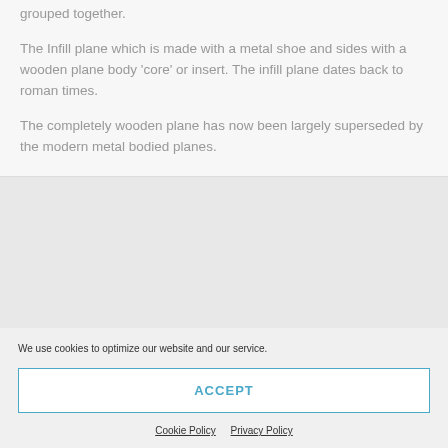grouped together.
The Infill plane which is made with a metal shoe and sides with a wooden plane body 'core' or insert. The infill plane dates back to roman times.
The completely wooden plane has now been largely superseded by the modern metal bodied planes.
We use cookies to optimize our website and our service.
ACCEPT
Cookie Policy   Privacy Policy